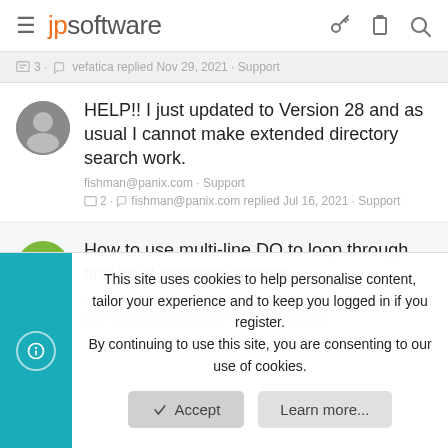jpsoftware
3 · vefatica replied Nov 29, 2021 · Support
HELP!! I just updated to Version 28 and as usual I cannot make extended directory search work.
fishman@panix.com · Support
2 · fishman@panix.com replied Jul 16, 2021 · Support
How to use multi-line DO to loop through first level directory names
dealio · Support
5 · dealio replied Mar 18, 2021 · Support
This site uses cookies to help personalise content, tailor your experience and to keep you logged in if you register.
By continuing to use this site, you are consenting to our use of cookies.